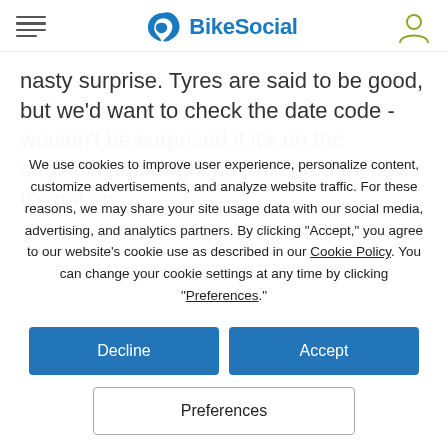BikeSocial
nasty surprise. Tyres are said to be good, but we'd want to check the date code - wouldn't be surprised if it's on the originals and they'll be rock hard by now. It's got an
We use cookies to improve user experience, personalize content, customize advertisements, and analyze website traffic. For these reasons, we may share your site usage data with our social media, advertising, and analytics partners. By clicking "Accept," you agree to our website's cookie use as described in our Cookie Policy. You can change your cookie settings at any time by clicking “Preferences.”
Decline
Accept
Preferences